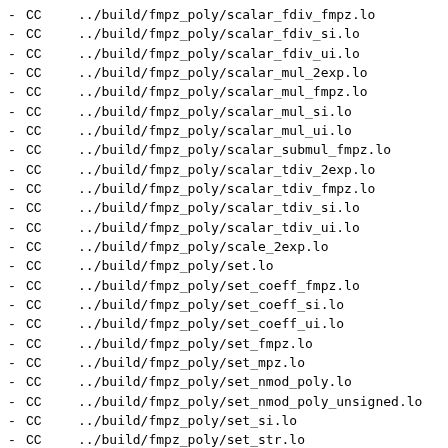-  CC  ../build/fmpz_poly/scalar_fdiv_fmpz.lo
-  CC  ../build/fmpz_poly/scalar_fdiv_si.lo
-  CC  ../build/fmpz_poly/scalar_fdiv_ui.lo
-  CC  ../build/fmpz_poly/scalar_mul_2exp.lo
-  CC  ../build/fmpz_poly/scalar_mul_fmpz.lo
-  CC  ../build/fmpz_poly/scalar_mul_si.lo
-  CC  ../build/fmpz_poly/scalar_mul_ui.lo
-  CC  ../build/fmpz_poly/scalar_submul_fmpz.lo
-  CC  ../build/fmpz_poly/scalar_tdiv_2exp.lo
-  CC  ../build/fmpz_poly/scalar_tdiv_fmpz.lo
-  CC  ../build/fmpz_poly/scalar_tdiv_si.lo
-  CC  ../build/fmpz_poly/scalar_tdiv_ui.lo
-  CC  ../build/fmpz_poly/scale_2exp.lo
-  CC  ../build/fmpz_poly/set.lo
-  CC  ../build/fmpz_poly/set_coeff_fmpz.lo
-  CC  ../build/fmpz_poly/set_coeff_si.lo
-  CC  ../build/fmpz_poly/set_coeff_ui.lo
-  CC  ../build/fmpz_poly/set_fmpz.lo
-  CC  ../build/fmpz_poly/set_mpz.lo
-  CC  ../build/fmpz_poly/set_nmod_poly.lo
-  CC  ../build/fmpz_poly/set_nmod_poly_unsigned.lo
-  CC  ../build/fmpz_poly/set_si.lo
-  CC  ../build/fmpz_poly/set_str.lo
-  CC  ../build/fmpz_poly/set_trunc.lo
-  CC  ../build/fmpz_poly/set_ui.lo
-  CC  ../build/fmpz_poly/shift_left.lo
-  CC  ../build/fmpz_poly/shift_right.lo
-  CC  ../build/fmpz_poly/signature.lo
-  CC  ../build/fmpz_poly/sqr.lo
-  CC  ../build/fmpz_poly/sqr_KS.lo